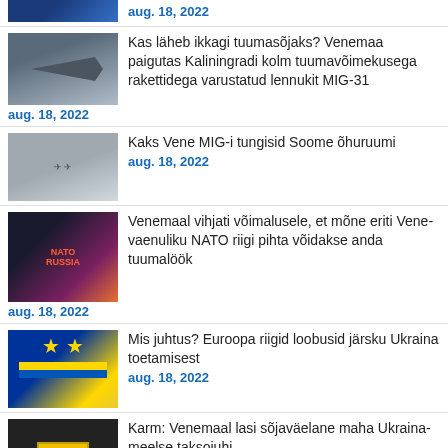[Figure (photo): Partial blue EU flag thumbnail at top]
aug. 18, 2022
[Figure (photo): Fighter jet (MIG-31) aircraft thumbnail]
Kas läheb ikkagi tuumasõjaks? Venemaa paigutas Kaliningradi kolm tuumavõimekusega rakettidega varustatud lennukit MIG-31
aug. 18, 2022
[Figure (photo): Two aircraft silhouettes thumbnail - MIG jets]
Kaks Vene MIG-i tungisid Soome õhuruumi
aug. 18, 2022
[Figure (photo): Colorful propaganda poster thumbnail about nuclear strike]
Venemaal vihjati võimalusele, et mõne eriti Vene-vaenuliku NATO riigi pihta võidakse anda tuumalöök
aug. 18, 2022
[Figure (photo): EU and Ukraine flags thumbnail]
Mis juhtus? Euroopa riigid loobusid järsku Ukraina toetamisest
aug. 18, 2022
[Figure (photo): TAXI sign yellow thumbnail]
Karm: Venemaal lasi sõjaväelane maha Ukraina-meelse taksojuhi
aug. 18, 2022
[Figure (photo): Narva tank removal scene thumbnail]
Narvas läks tanki eemaldamine rahulikult, inimesed toovad sündmuskohale küünlaid ja lilli